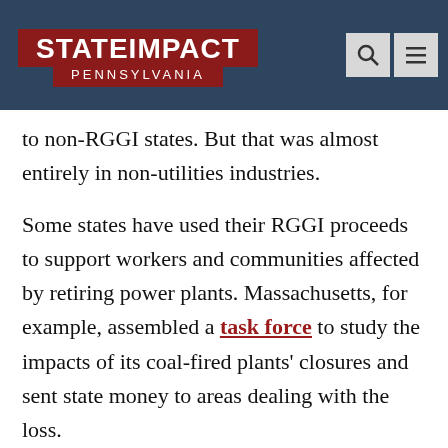StateImpact Pennsylvania
to non-RGGI states. But that was almost entirely in non-utilities industries.
Some states have used their RGGI proceeds to support workers and communities affected by retiring power plants. Massachusetts, for example, assembled a task force to study the impacts of its coal-fired plants' closures and sent state money to areas dealing with the loss.
Coal country